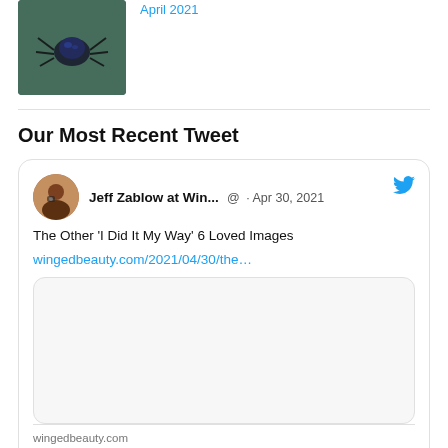[Figure (photo): A close-up photo of a blue and black spider on green foliage]
April 2021
Our Most Recent Tweet
[Figure (screenshot): Embedded tweet by Jeff Zablow at Win... dated Apr 30, 2021 with tweet text 'The Other 'I Did It My Way' 6 Loved Images' and link wingedbeauty.com/2021/04/30/the… with a linked article preview showing wingedbeauty.com and title 'The Other 'I Did It My Way' 6']